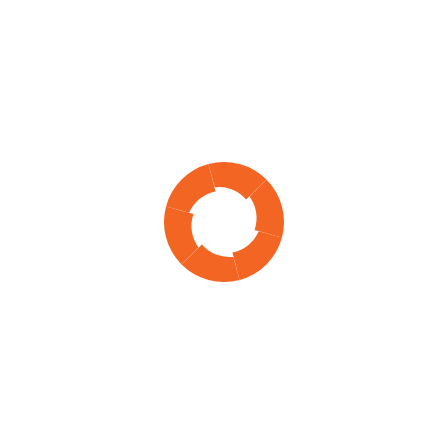[Figure (logo): Orange dashed-ring / life-preserver style logo icon centered on white background. The ring is made of 6 curved arc segments in orange, arranged in a circle with gaps between them, resembling a life buoy or loading spinner icon.]